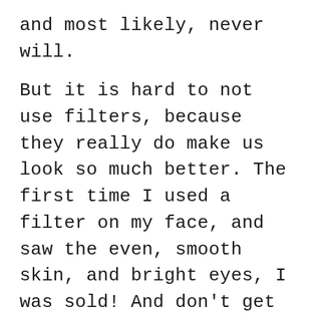and most likely, never will.

But it is hard to not use filters, because they really do make us look so much better. The first time I used a filter on my face, and saw the even, smooth skin, and bright eyes, I was sold! And don't get me started on the animal filters...because honestly, I am at my most beautiful when I look and sound like a deer.  Who knew? So strange, but I gotta admit, so true. So much so, that  I have already requested that when I die, if possible, I'd like to be laid out